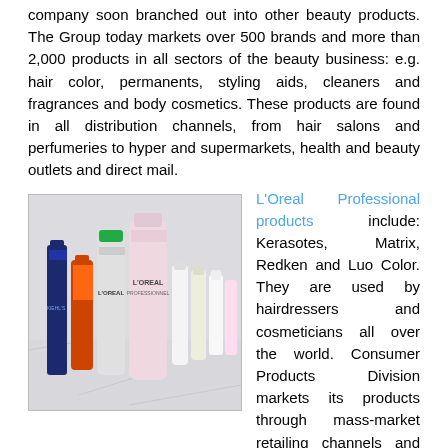company soon branched out into other beauty products. The Group today markets over 500 brands and more than 2,000 products in all sectors of the beauty business: e.g. hair color, permanents, styling aids, cleaners and fragrances and body cosmetics. These products are found in all distribution channels, from hair salons and perfumeries to hyper and supermarkets, health and beauty outlets and direct mail.
[Figure (photo): Photo of multiple L'Oreal Professional beauty products including bottles and tubes arranged on a white surface]
L'Oreal Professional products include: Kerasotes, Matrix, Redken and Luo Color. They are used by hairdressers and cosmeticians all over the world. Consumer Products Division markets its products through mass-market retailing channels and the Division's brands developed are hair care, skincare, make-up and perfume products that meet the aspirations of all of its customers. Most famous brands in this category are as: L'Oreal Paris, Garnier and Maybelline New York.